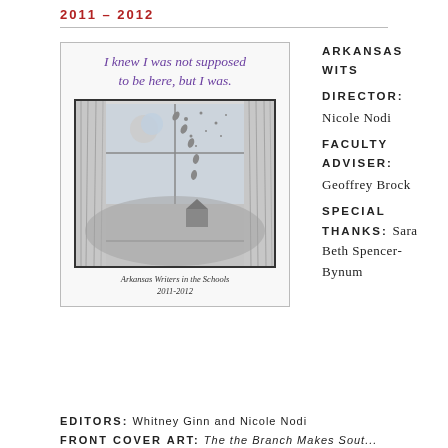2011 – 2012
[Figure (illustration): Book cover of 'Arkansas Writers in the Schools 2011-2012' featuring italic purple title text 'I knew I was not supposed to be here, but I was.' and a hand-drawn illustration of a window with curtains showing a night sky with moon and stars]
ARKANSAS WITS DIRECTOR: Nicole Nodi FACULTY ADVISER: Geoffrey Brock SPECIAL THANKS: Sara Beth Spencer-Bynum
EDITORS: Whitney Ginn and Nicole Nodi
FRONT COVER ART: ...